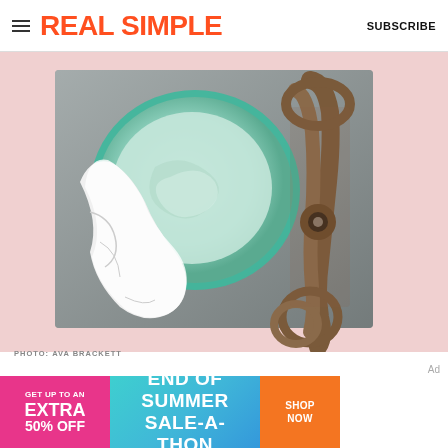REAL SIMPLE  SUBSCRIBE
[Figure (photo): A pink background with a gray slate stone slab. On the slab sits a round green glass dish filled with a pale green cream/substance, with a white cloth draped beside it. An antique bronze/brown pruning shear/scissor tool leans against the right side of the slab.]
PHOTO: AVA BRACKETT
[Figure (infographic): Advertisement banner: Left pink section reads 'GET UP TO AN EXTRA 50% OFF'. Middle teal/blue gradient section reads 'END OF SUMMER SALE-A-THON'. Right orange section reads 'SHOP NOW'.]